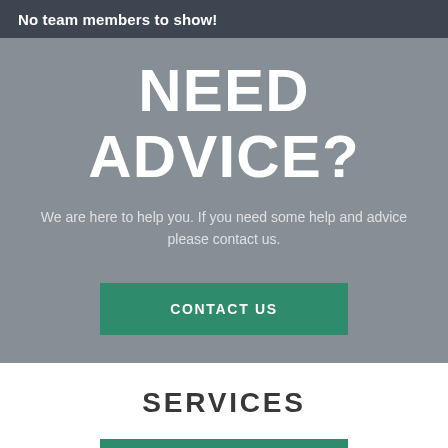No team members to show!
NEED ADVICE?
We are here to help you. If you need some help and advice please contact us.
CONTACT US
SERVICES
MORE INFO +